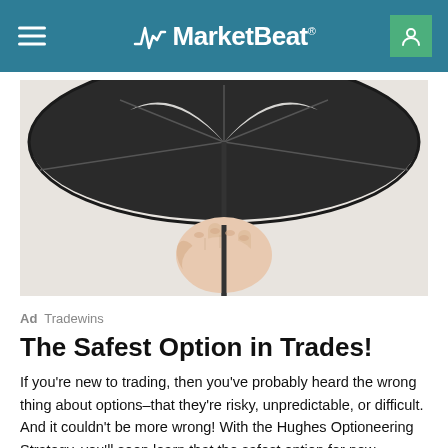MarketBeat
[Figure (photo): A hand holding the stem of an open black umbrella viewed from below against a white background]
Ad  Tradewins
The Safest Option in Trades!
If you're new to trading, then you've probably heard the wrong thing about options–that they're risky, unpredictable, or difficult. And it couldn't be more wrong! With the Hughes Optioneering Strategy, you'll soon learn that the safest option for new accounts is options themselves!